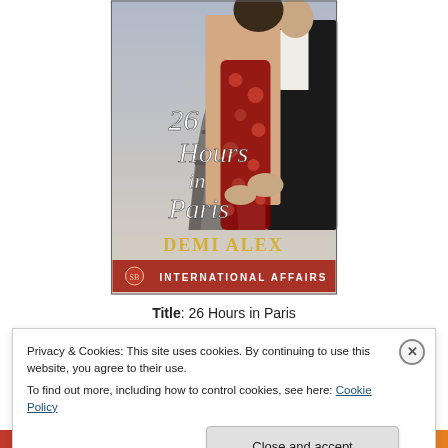[Figure (illustration): Book cover for '26 Hours in Paris' by Demi Alex. Shows a couple embracing in front of the Eiffel Tower. Woman wears a red floral dress. Text reads '26 Hours in Paris' in script, 'DEMI ALEX' in gold serif, and 'INTERNATIONAL AFFAIRS' on a red banner at bottom.]
Title: 26 Hours in Paris
Privacy & Cookies: This site uses cookies. By continuing to use this website, you agree to their use.
To find out more, including how to control cookies, see here: Cookie Policy